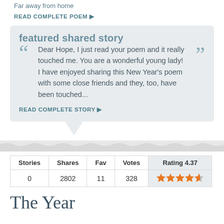Far away from home
READ COMPLETE POEM ▶
featured shared story
Dear Hope, I just read your poem and it really touched me. You are a wonderful young lady! I have enjoyed sharing this New Year's poem with some close friends and they, too, have been touched...
READ COMPLETE STORY ▶
| Stories | Shares | Fav | Votes | Rating 4.37 |
| --- | --- | --- | --- | --- |
| 0 | 2802 | 11 | 328 | ★★★★☆ |
The Year